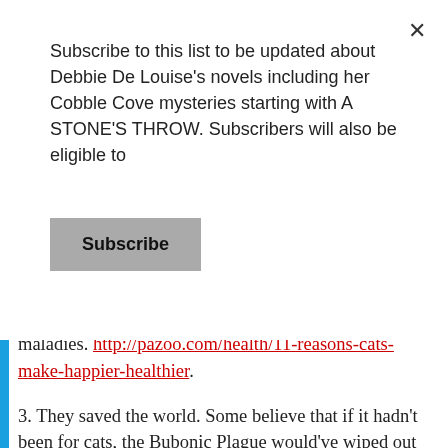Subscribe to this list to be updated about Debbie De Louise's novels including her Cobble Cove mysteries starting with A STONE'S THROW. Subscribers will also be eligible to
Subscribe
maladies. http://pazoo.com/health/11-reasons-cats-make-happier-healthier.
3. They saved the world. Some believe that if it hadn't been for cats, the Bubonic Plague would've wiped out the world. Read this interesting article by Lisa J. Lehr on that topic: http://ezinearticles.com/?Cats,-People,-and-the-Black-Plague—Those-Who-Kept-Cats-Survived&id=161249